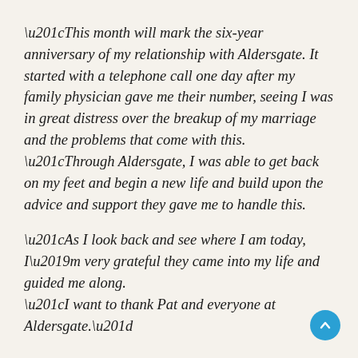“This month will mark the six-year anniversary of my relationship with Aldersgate. It started with a telephone call one day after my family physician gave me their number, seeing I was in great distress over the breakup of my marriage and the problems that come with this. “Through Aldersgate, I was able to get back on my feet and begin a new life and build upon the advice and support they gave me to handle this.
“As I look back and see where I am today, I’m very grateful they came into my life and guided me along. “I want to thank Pat and everyone at Aldersgate.”